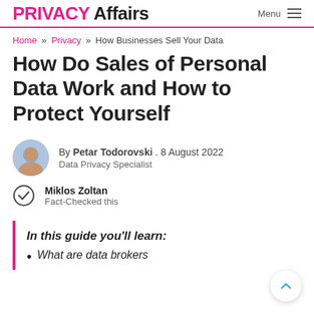PRIVACY Affairs | Menu
Home » Privacy » How Businesses Sell Your Data
How Do Sales of Personal Data Work and How to Protect Yourself
By Petar Todorovski . 8 August 2022
Data Privacy Specialist
Miklos Zoltan
Fact-Checked this
In this guide you'll learn:
What are data brokers